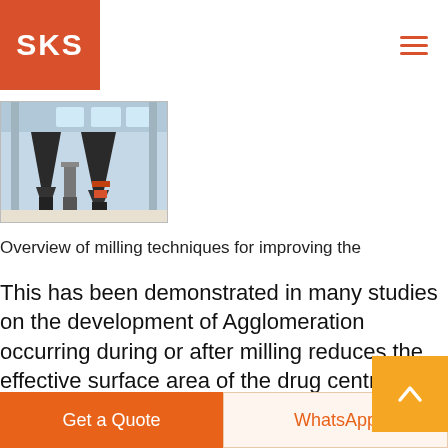SKS
[Figure (photo): Industrial milling machines in a factory setting with large cone-shaped crushers on a factory floor.]
Overview of milling techniques for improving the
This has been demonstrated in many studies on the development of Agglomeration occurring during or after milling reduces the effective surface area of the drug centrally causing a centrifugal cation system for the milled particl
Get a Quote  WhatsApp